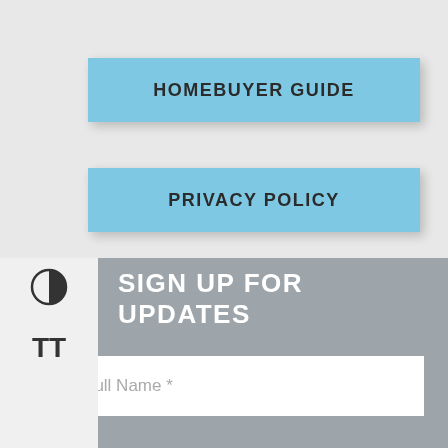HOMEBUYER GUIDE
PRIVACY POLICY
SIGN UP FOR UPDATES
Full Name *